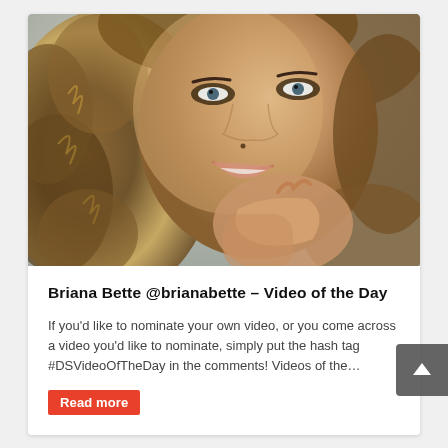[Figure (photo): Close-up selfie of a young woman with curly hair, smiling, resting her chin on her hand.]
Briana Bette @brianabette – Video of the Day
If you'd like to nominate your own video, or you come across a video you'd like to nominate, simply put the hash tag #DSVideoOfTheDay in the comments! Videos of the…
Read more